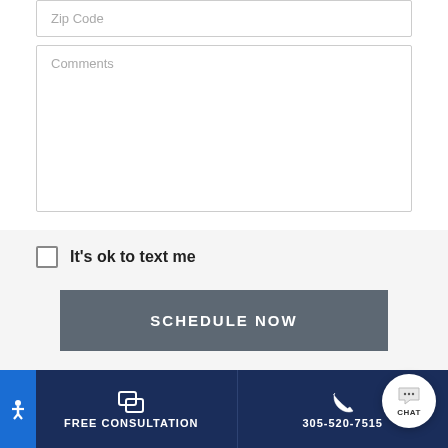Zip Code
Comments
It's ok to text me
SCHEDULE NOW
We serve the entire metropolitan
FREE CONSULTATION
305-520-7515
CHAT